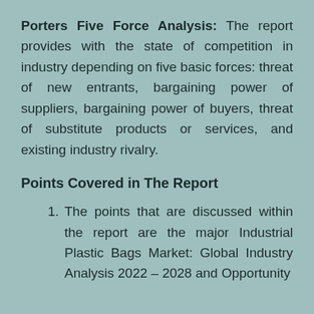Porters Five Force Analysis: The report provides with the state of competition in industry depending on five basic forces: threat of new entrants, bargaining power of suppliers, bargaining power of buyers, threat of substitute products or services, and existing industry rivalry.
Points Covered in The Report
The points that are discussed within the report are the major Industrial Plastic Bags Market: Global Industry Analysis 2022 – 2028 and Opportunity